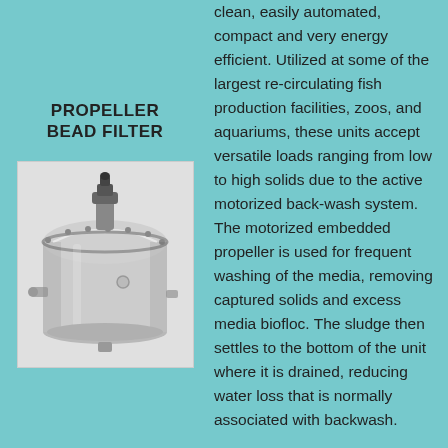PROPELLER BEAD FILTER
[Figure (photo): Photograph of a propeller bead filter unit — a large grey cylindrical vessel with a domed top, a motorized propeller fitting on top, and inlet/outlet ports on the sides.]
clean, easily automated, compact and very energy efficient. Utilized at some of the largest re-circulating fish production facilities, zoos, and aquariums, these units accept versatile loads ranging from low to high solids due to the active motorized back-wash system. The motorized embedded propeller is used for frequent washing of the media, removing captured solids and excess media biofloc. The sludge then settles to the bottom of the unit where it is drained, reducing water loss that is normally associated with backwash.